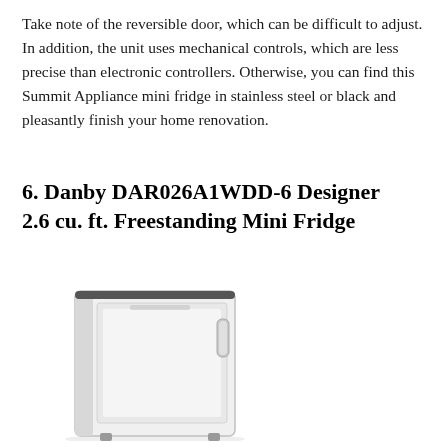Take note of the reversible door, which can be difficult to adjust. In addition, the unit uses mechanical controls, which are less precise than electronic controllers. Otherwise, you can find this Summit Appliance mini fridge in stainless steel or black and pleasantly finish your home renovation.
6. Danby DAR026A1WDD-6 Designer 2.6 cu. ft. Freestanding Mini Fridge
[Figure (photo): Photo of a white Danby freestanding mini fridge, front-angle view showing the door, handle, and feet.]